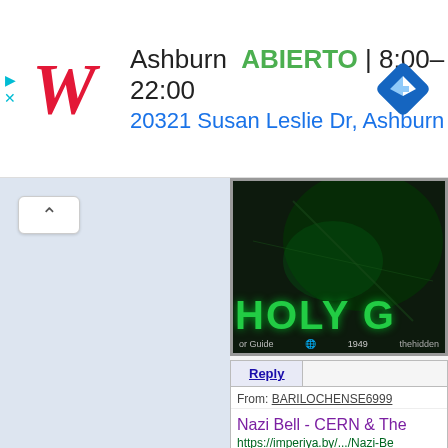[Figure (screenshot): Walgreens ad banner showing store location in Ashburn, ABIERTO (open), hours 8:00-22:00, address 20321 Susan Leslie Dr, Ashburn, with navigation icon]
[Figure (screenshot): Web forum screenshot showing a collapsed panel on the left, a video thumbnail with 'HOLY G' text on the right, and a reply section with message from BARILOCHENSE6999 containing a search result about 'Nazi Bell - CERN & The...' from imperiya.by]
From: BARILOCHENSE6999
Nazi Bell - CERN & The
https://imperiya.by/.../Nazi-Be
What was the Nazi Bell time ma a weapon, a technological devic
Traducir esta página